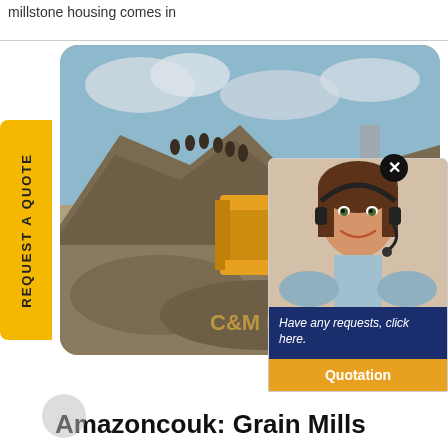millstone housing comes in
[Figure (photo): Mining scene with yellow heavy machinery (jaw crusher) on a rocky site, with workers visible on a hill in background, overcast sky. Yellow banner 'REQUEST A QUOTE' on left side. Text 'C&M M' visible on ground.]
[Figure (photo): Chat popup widget showing a smiling female customer service agent wearing headset, dark navy background with italic text 'Have any requests, click here.' and an orange 'Quotation' button below.]
Amazoncouk: Grain Mills